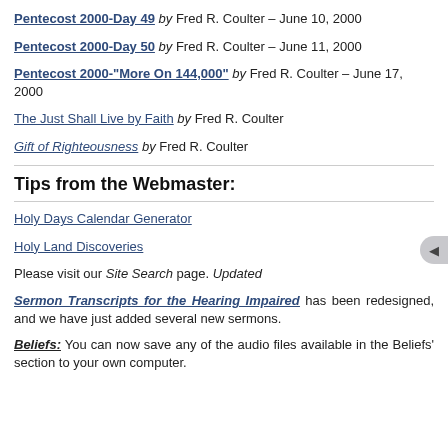Pentecost 2000-Day 49 by Fred R. Coulter – June 10, 2000
Pentecost 2000-Day 50 by Fred R. Coulter – June 11, 2000
Pentecost 2000-"More On 144,000" by Fred R. Coulter – June 17, 2000
The Just Shall Live by Faith by Fred R. Coulter
Gift of Righteousness by Fred R. Coulter
Tips from the Webmaster:
Holy Days Calendar Generator
Holy Land Discoveries
Please visit our Site Search page. Updated
Sermon Transcripts for the Hearing Impaired has been redesigned, and we have just added several new sermons.
Beliefs: You can now save any of the audio files available in the Beliefs' section to your own computer.